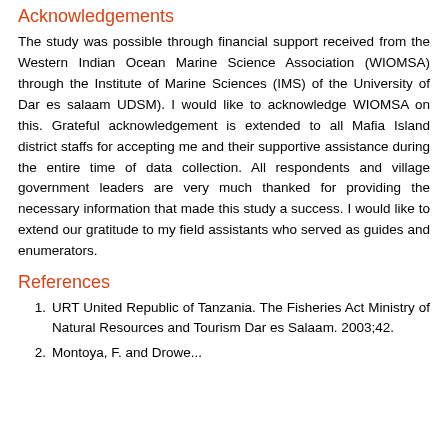Acknowledgements
The study was possible through financial support received from the Western Indian Ocean Marine Science Association (WIOMSA) through the Institute of Marine Sciences (IMS) of the University of Dar es salaam UDSM). I would like to acknowledge WIOMSA on this. Grateful acknowledgement is extended to all Mafia Island district staffs for accepting me and their supportive assistance during the entire time of data collection. All respondents and village government leaders are very much thanked for providing the necessary information that made this study a success. I would like to extend our gratitude to my field assistants who served as guides and enumerators.
References
URT United Republic of Tanzania. The Fisheries Act Ministry of Natural Resources and Tourism Dar es Salaam. 2003;42.
Montoya, F. and Drowe...